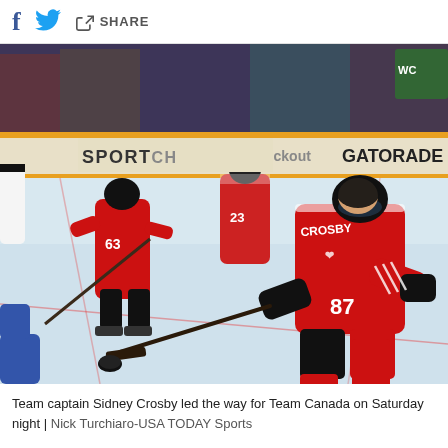f [twitter bird] [share icon] SHARE
[Figure (photo): Hockey game action photo: Sidney Crosby (#87) in red Team Canada jersey taking a shot on ice, with teammate #63 in background and opponent #23. SportChek and Gatorade rink boards visible. Players on ice with crowd in background.]
Team captain Sidney Crosby led the way for Team Canada on Saturday night  |  Nick Turchiaro-USA TODAY Sports